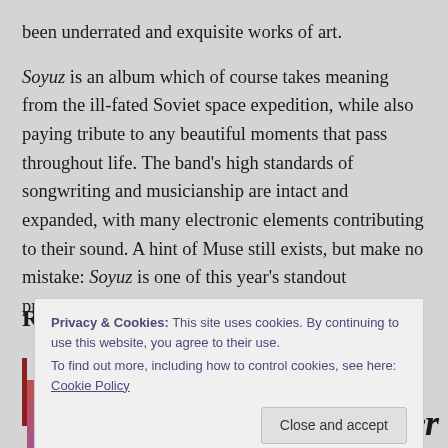been underrated and exquisite works of art.

Soyuz is an album which of course takes meaning from the ill-fated Soviet space expedition, while also paying tribute to any beautiful moments that pass throughout life. The band's high standards of songwriting and musicianship are intact and expanded, with many electronic elements contributing to their sound. A hint of Muse still exists, but make no mistake: Soyuz is one of this year's standout progressive rock albums.
Privacy & Cookies: This site uses cookies. By continuing to use this website, you agree to their use.
To find out more, including how to control cookies, see here: Cookie Policy
Close and accept
[Figure (photo): Partial image visible at bottom left of page, colorful artistic image]
Under